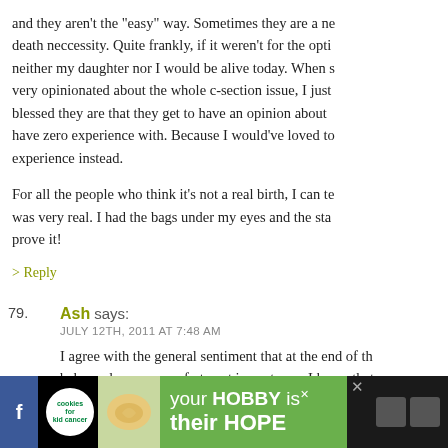and they aren't the "easy" way. Sometimes they are a matter of life and death neccessity. Quite frankly, if it weren't for the option of c-sections, neither my daughter nor I would be alive today. When someone is very opinionated about the whole c-section issue, I just think about how blessed they are that they get to have an opinion about something they have zero experience with. Because I would've loved to have that experience instead.
For all the people who think it's not a real birth, I can tell you mine was very real. I had the bags under my eyes and the staples to prove it!
> Reply
79. Ash says:
JULY 12TH, 2011 AT 7:48 AM
I agree with the general sentiment that at the end of the day, a healthy baby and mama are of utmost importance. I know that it's important to me to have my birth plan go according to said plan, com... medical intervention and a vaginal delivery, and I'm in t...
[Figure (screenshot): Advertisement banner at the bottom: cookies for kids cancer with text 'your HOBBY is their HOPE' on green background]